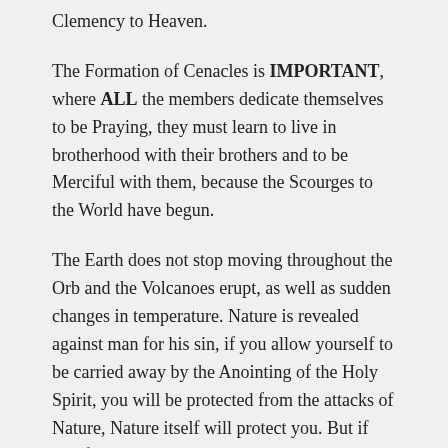Clemency to Heaven.
The Formation of Cenacles is IMPORTANT, where ALL the members dedicate themselves to be Praying, they must learn to live in brotherhood with their brothers and to be Merciful with them, because the Scourges to the World have begun.
The Earth does not stop moving throughout the Orb and the Volcanoes erupt, as well as sudden changes in temperature. Nature is revealed against man for his sin, if you allow yourself to be carried away by the Anointing of the Holy Spirit, you will be protected from the attacks of Nature, Nature itself will protect you. But if you fall into sin and concupiscence, Nature itself will turn against you, so I ask you to be in STATE OF GRACE and